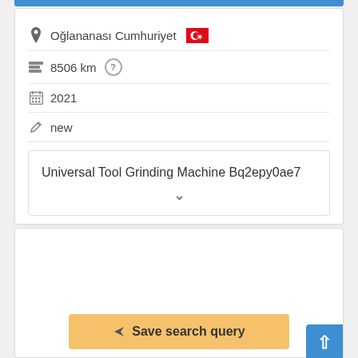Oğlananası Cumhuriyet 🇹🇷
8506 km
2021
new
Universal Tool Grinding Machine Bq2epy0ae7
Save search query